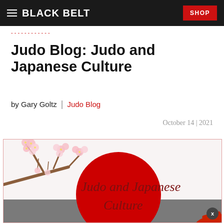BLACK BELT | SHOP
Judo Blog: Judo and Japanese Culture
by Gary Goltz | Judo Blog
October 14 | 2021
[Figure (illustration): Illustration with cherry blossom branch on the left, a large red circle (sun) in the center, and the text 'Judo and Japanese Culture' in dark red handwritten style font over a white and grey background.]